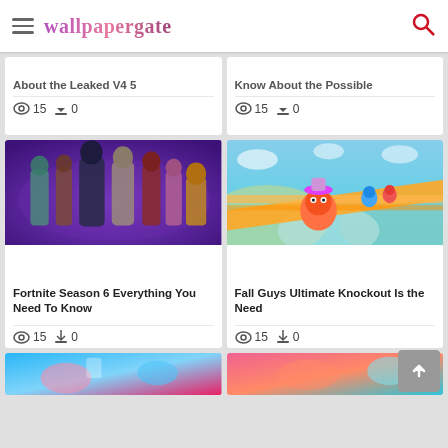wallpapergate
About the Leaked V4 5
15 views · 0 downloads
Know About the Possible
15 views · 0 downloads
[Figure (photo): Fortnite Season 6 characters posed against purple background]
Fortnite Season 6 Everything You Need To Know
15 views · 0 downloads
[Figure (photo): Fall Guys Ultimate Knockout colorful game screenshot with orange and teal course]
Fall Guys Ultimate Knockout Is the Need
15 views · 0 downloads
[Figure (photo): Partial game screenshot bottom left with blue and pink tones]
[Figure (photo): Partial game screenshot bottom right with pink and teal tones]